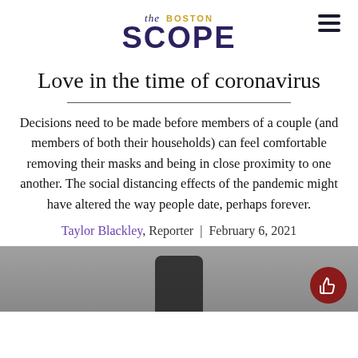the BOSTON SCOPE
Love in the time of coronavirus
Decisions need to be made before members of a couple (and members of both their households) can feel comfortable removing their masks and being in close proximity to one another. The social distancing effects of the pandemic might have altered the way people date, perhaps forever.
Taylor Blackley, Reporter  |  February 6, 2021
[Figure (photo): Bottom portion of article page showing a smartphone, partially visible, on a gray surface. A dark red circular thumbs-up button overlays the bottom right corner.]